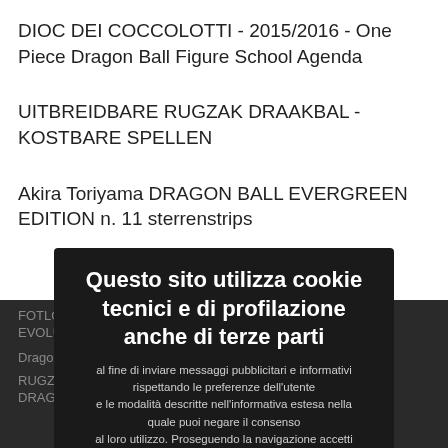DIOC DEI COCCOLOTTI - 2015/2016 - One Piece Dragon Ball Figure School Agenda
UITBREIDBARE RUGZAK DRAAKBAL - KOSTBARE SPELLEN
Akira Toriyama DRAGON BALL EVERGREEN EDITION n. 11 sterrenstrips
FOTLORD RUGZAK EVOLUTIE PE... Dragon Ball...
RUGZAK RUGZAK KING... NDERGARTI... DRAGONBALL...
Questo sito utilizza cookie tecnici e di profilazione anche di terze parti al fine di inviare messaggi pubblicitari e informativi rispettando le preferenze dell'utente e le modalità descritte nell'informativa estesa nella quale puoi negare il consenso al loro utilizzo. Proseguendo la navigazione accetti l'uso dei cookie. L'informativa
Accetto